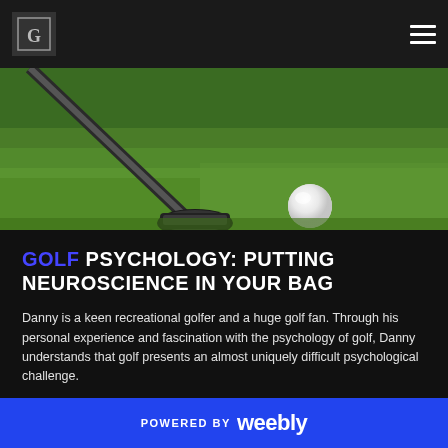Golf Psychology: Putting Neuroscience in Your Bag - website navigation header
[Figure (photo): Close-up photo of a golf iron club head next to a white golf ball on green grass]
GOLF PSYCHOLOGY: PUTTING NEUROSCIENCE IN YOUR BAG
Danny is a keen recreational golfer and a huge golf fan. Through his personal experience and fascination with the psychology of golf, Danny understands that golf presents an almost uniquely difficult psychological challenge.
POWERED BY weebly